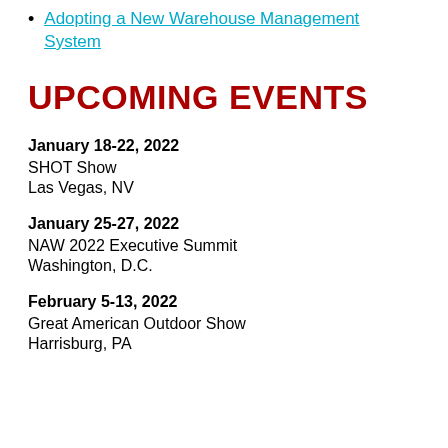Adopting a New Warehouse Management System
UPCOMING EVENTS
January 18-22, 2022
SHOT Show
Las Vegas, NV
January 25-27, 2022
NAW 2022 Executive Summit
Washington, D.C.
February 5-13, 2022
Great American Outdoor Show
Harrisburg, PA